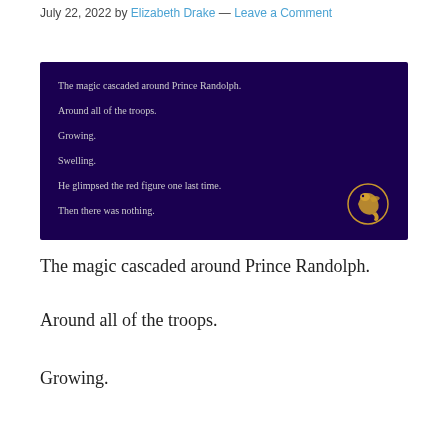July 22, 2022 by Elizabeth Drake — Leave a Comment
[Figure (illustration): Dark purple background image with white text excerpt: 'The magic cascaded around Prince Randolph. Around all of the troops. Growing. Swelling. He glimpsed the red figure one last time. Then there was nothing.' with a gold dragon logo in the bottom right corner.]
The magic cascaded around Prince Randolph.
Around all of the troops.
Growing.